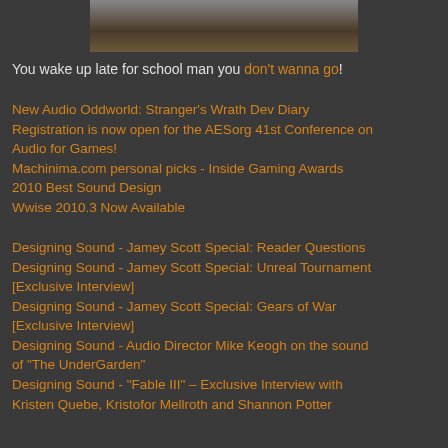[Figure (photo): Partial image at top of page showing blurred figures, appears to be a cropped screenshot or photo]
You wake up late for school man you don't wanna go!
New Audio Oddworld: Stranger's Wrath Dev Diary
Registration is now open for the AESorg 41st Conference on Audio for Games!
Machinima.com personal picks - Inside Gaming Awards 2010 Best Sound Design
Wwise 2010.3 Now Available
Designing Sound - Jamey Scott Special: Reader Questions
Designing Sound - Jamey Scott Special: Unreal Tournament [Exclusive Interview]
Designing Sound - Jamey Scott Special: Gears of War [Exclusive Interview]
Designing Sound - Audio Director Mike Keogh on the sound of "The UnderGarden"
Designing Sound -  "Fable III" – Exclusive Interview with Kristen Quebe, Kristofor Mellroth and Shannon Potter